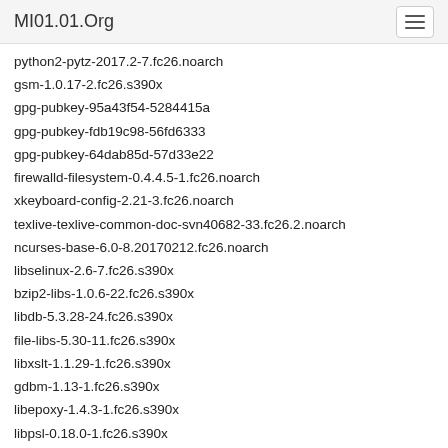MI01.01.Org
python2-pytz-2017.2-7.fc26.noarch
gsm-1.0.17-2.fc26.s390x
gpg-pubkey-95a43f54-5284415a
gpg-pubkey-fdb19c98-56fd6333
gpg-pubkey-64dab85d-57d33e22
firewalld-filesystem-0.4.4.5-1.fc26.noarch
xkeyboard-config-2.21-3.fc26.noarch
texlive-texlive-common-doc-svn40682-33.fc26.2.noarch
ncurses-base-6.0-8.20170212.fc26.noarch
libselinux-2.6-7.fc26.s390x
bzip2-libs-1.0.6-22.fc26.s390x
libdb-5.3.28-24.fc26.s390x
file-libs-5.30-11.fc26.s390x
libxslt-1.1.29-1.fc26.s390x
gdbm-1.13-1.fc26.s390x
libepoxy-1.4.3-1.fc26.s390x
libpsl-0.18.0-1.fc26.s390x
perl-Carp-1.40-366.fc26.noarch
e2fsprogs-libs-1.43.4-2.fc26.s390x
libmnl-1.0.4-2.fc26.s390x